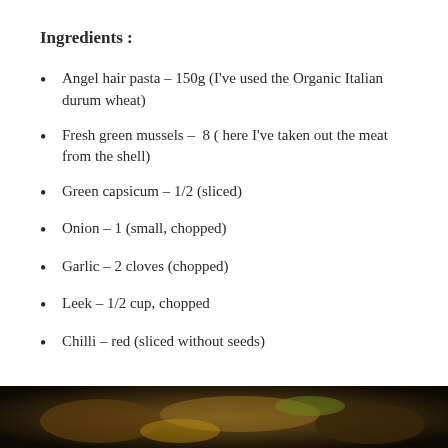Ingredients :
Angel hair pasta – 150g (I've used the Organic Italian durum wheat)
Fresh green mussels –  8 ( here I've taken out the meat from the shell)
Green capsicum – 1/2 (sliced)
Onion – 1 (small, chopped)
Garlic – 2 cloves (chopped)
Leek – 1/2 cup, chopped
Chilli – red (sliced without seeds)
[Figure (photo): Food photo at bottom of page showing ingredients or dish]